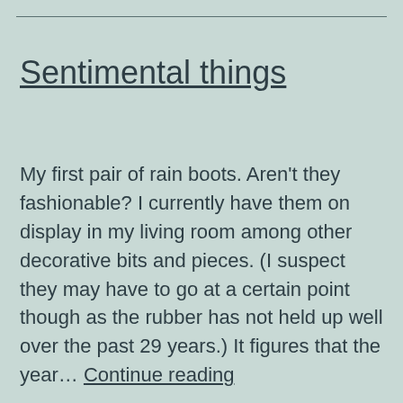Sentimental things
My first pair of rain boots. Aren't they fashionable? I currently have them on display in my living room among other decorative bits and pieces. (I suspect they may have to go at a certain point though as the rubber has not held up well over the past 29 years.) It figures that the year… Continue reading